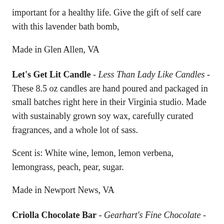important for a healthy life. Give the gift of self care with this lavender bath bomb,
Made in Glen Allen, VA
Let's Get Lit Candle - Less Than Lady Like Candles - These 8.5 oz candles are hand poured and packaged in small batches right here in their Virginia studio. Made with sustainably grown soy wax, carefully curated fragrances, and a whole lot of sass.
Scent is: White wine, lemon, lemon verbena, lemongrass, peach, pear, sugar.
Made in Newport News, VA
Criolla Chocolate Bar - Gearhart's Fine Chocolate - This chocolate bar is made of our solid, custom blend of 70% dark or 41% milk chocolate. Criolla flavor is dark chocolate with raw